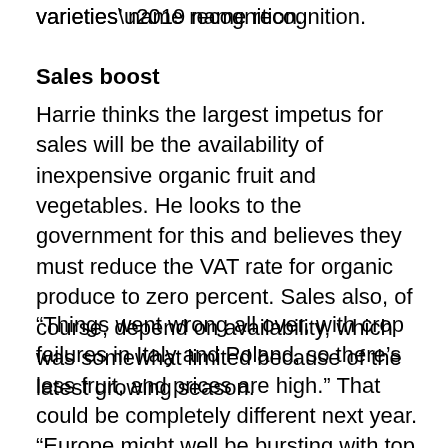varieties’ name recognition.
Sales boost
Harrie thinks the largest impetus for sales will be the availability of inexpensive organic fruit and vegetables. He looks to the government for this and believes they must reduce the VAT rate for organic produce to zero percent. Sales also, of course, depend on availability, which was somewhat limited because of the latest growing season.
“Things went wrong all over, with crop failures in Italy and Poland, so there’s less fruit, and prices are high.” That could be completely different next year. “Europe might well be bursting with top fruit in the coming growing season. For once, nothing